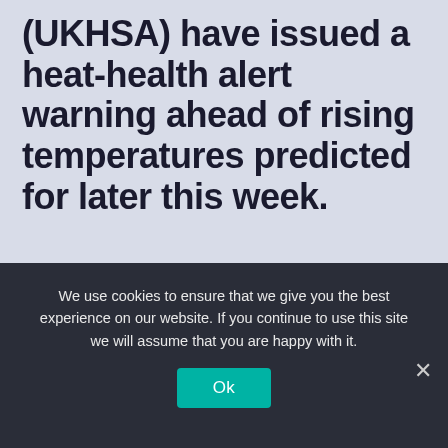(UKHSA) have issued a heat-health alert warning ahead of rising temperatures predicted for later this week.
The forecaster said a level 2 heat-health alert has been issued for a large part of southern and central England, with a level 1 alert in place for northern England.
Forecasters have said some parts of England may experience a heatwave later this week as temperatures are predicted to jump to 28C (82F) in the North East and North West and 30C (86F) in the south east on Friday
We use cookies to ensure that we give you the best experience on our website. If you continue to use this site we will assume that you are happy with it.